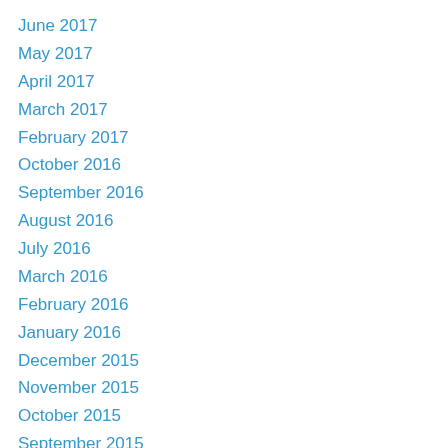June 2017
May 2017
April 2017
March 2017
February 2017
October 2016
September 2016
August 2016
July 2016
March 2016
February 2016
January 2016
December 2015
November 2015
October 2015
September 2015
May 2015
April 2015
March 2015
February 2015